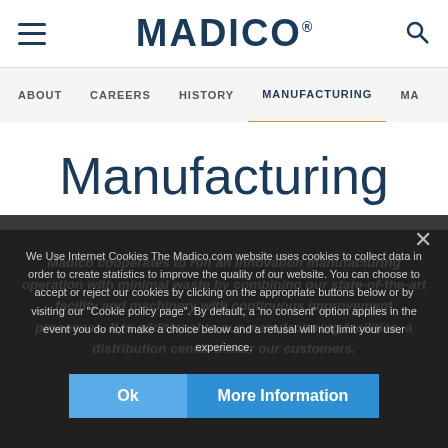MADICO® — hamburger menu and search icon
ABOUT  CAREERS  HISTORY  MANUFACTURING  MA
Manufacturing
Madico cooperates to run an innovation manufacturing operation with minimal waste by combining our state-of-the-art facility and machinery with continuous improvement processes. It is additional to our manufacturing facilities, a distribution center a near our customers.
We Use Internet Cookies The Madico.com website uses cookies to collect data in order to create statistics to improve the quality of our website. You can choose to accept or reject our cookies by clicking on the appropriate buttons below or by visiting our "Cookie policy page". By default, a 'no consent' option applies in the event you do not make a choice below and a refusal will not limit your user experience.